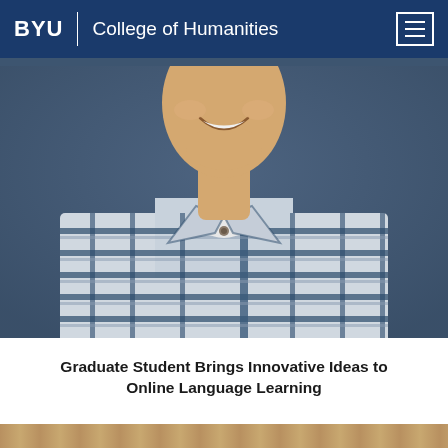BYU | College of Humanities
[Figure (photo): Portrait photo of a young man smiling, wearing a blue and white plaid flannel shirt, against a dark blue/grey textured background. The photo is cropped from the chest up, with the face partially visible at the top.]
Graduate Student Brings Innovative Ideas to Online Language Learning